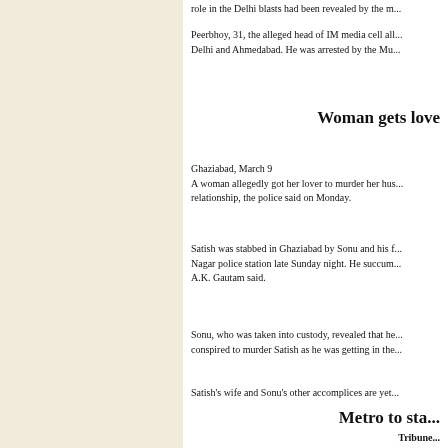role in the Delhi blasts had been revealed by the m...
Peerbhoy, 31, the alleged head of IM media cell all... Delhi and Ahmedabad. He was arrested by the Mu...
Woman gets love...
Ghaziabad, March 9
A woman allegedly got her lover to murder her hus... relationship, the police said on Monday.
Satish was stabbed in Ghaziabad by Sonu and his f... Nagar police station late Sunday night. He succum... A.K. Gautam said.
Sonu, who was taken into custody, revealed that he... conspired to murder Satish as he was getting in the...
Satish's wife and Sonu's other accomplices are yet...
Metro to sta...
Tribune...